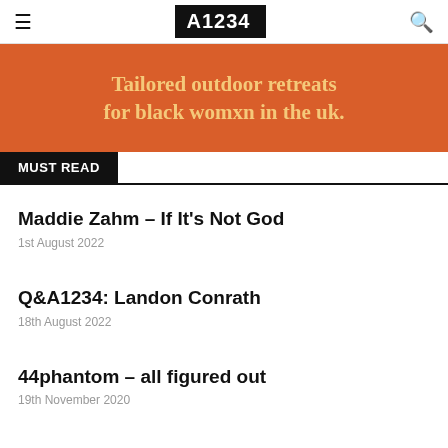A1234
[Figure (other): Orange banner with text: Tailored outdoor retreats for black womxn in the uk.]
MUST READ
Maddie Zahm – If It's Not God
1st August 2022
Q&A1234: Landon Conrath
18th August 2022
44phantom – all figured out
19th November 2020